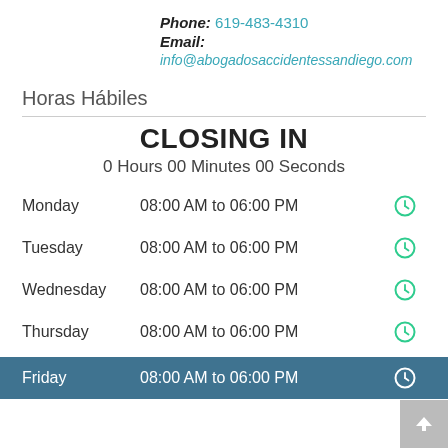Phone: 619-483-4310
Email: info@abogadosaccidentessandiego.com
Horas Hábiles
CLOSING IN
0 Hours 00 Minutes 00 Seconds
Monday   08:00 AM to 06:00 PM
Tuesday   08:00 AM to 06:00 PM
Wednesday   08:00 AM to 06:00 PM
Thursday   08:00 AM to 06:00 PM
Friday   08:00 AM to 06:00 PM